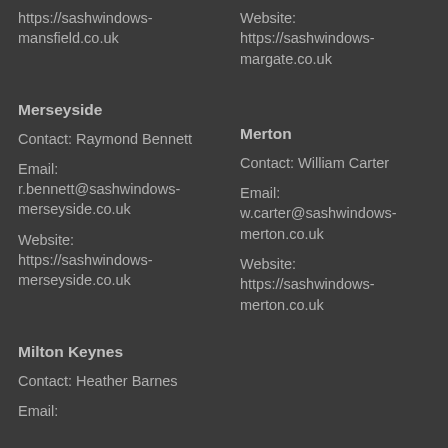https://sashwindows-mansfield.co.uk
Website: https://sashwindows-margate.co.uk
Merseyside
Contact: Raymond Bennett
Email: r.bennett@sashwindows-merseyside.co.uk
Website: https://sashwindows-merseyside.co.uk
Merton
Contact: William Carter
Email: w.carter@sashwindows-merton.co.uk
Website: https://sashwindows-merton.co.uk
Milton Keynes
Contact: Heather Barnes
Email: